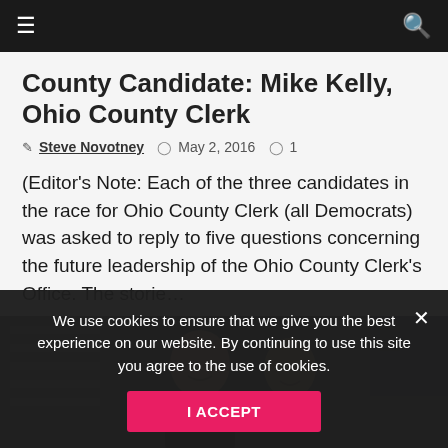≡  🔍
County Candidate: Mike Kelly, Ohio County Clerk
✎ Steve Novotney  🕐 May 2, 2016  💬 1
(Editor's Note: Each of the three candidates in the race for Ohio County Clerk (all Democrats) was asked to reply to five questions concerning the future leadership of the Ohio County Clerk's Office. The storie…
[Figure (photo): Two men standing outside a building, wearing dark jackets, smiling at camera]
We use cookies to ensure that we give you the best experience on our website. By continuing to use this site you agree to the use of cookies.
I ACCEPT